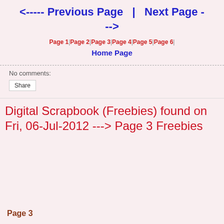<----- Previous Page  |  Next Page ---->
Page 1 | Page 2 | Page 3 | Page 4 | Page 5 | Page 6 |
Home Page
No comments:
Share
Digital Scrapbook (Freebies) found on Fri, 06-Jul-2012 ---> Page 3 Freebies
Page 3